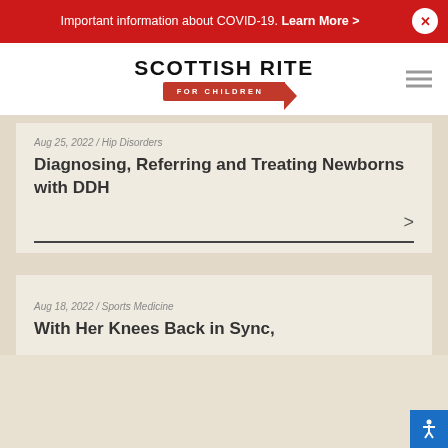Important information about COVID-19. Learn More >
[Figure (logo): Scottish Rite for Children logo with red crayon graphic]
Aug 25, 2022 / Hip Disorders
Diagnosing, Referring and Treating Newborns with DDH
Aug 18, 2022 / Sports Medicine
With Her Knees Back in Sync,